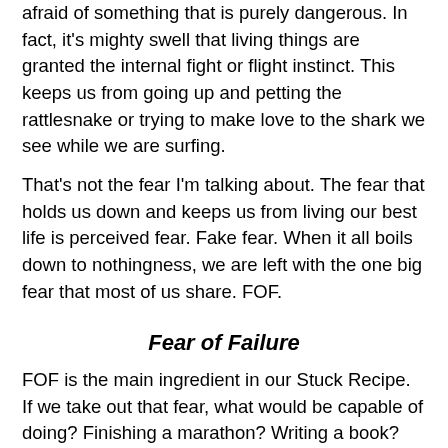afraid of something that is purely dangerous. In fact, it's mighty swell that living things are granted the internal fight or flight instinct. This keeps us from going up and petting the rattlesnake or trying to make love to the shark we see while we are surfing.
That's not the fear I'm talking about. The fear that holds us down and keeps us from living our best life is perceived fear. Fake fear. When it all boils down to nothingness, we are left with the one big fear that most of us share. FOF.
Fear of Failure
FOF is the main ingredient in our Stuck Recipe. If we take out that fear, what would be capable of doing? Finishing a marathon? Writing a book? Going back to school? Making the perfect apple pie crust?
4. Get Over Yourself. I'm going to go out on a limb here and say that the reason we have such a FOF is that we are ego maniacs. If we didn't have such egos, we wouldn't be so afraid of failing and being rejected. We instead would...